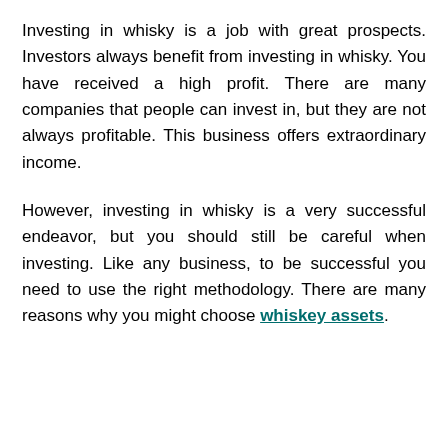Investing in whisky is a job with great prospects. Investors always benefit from investing in whisky. You have received a high profit. There are many companies that people can invest in, but they are not always profitable. This business offers extraordinary income.
However, investing in whisky is a very successful endeavor, but you should still be careful when investing. Like any business, to be successful you need to use the right methodology. There are many reasons why you might choose whiskey assets.